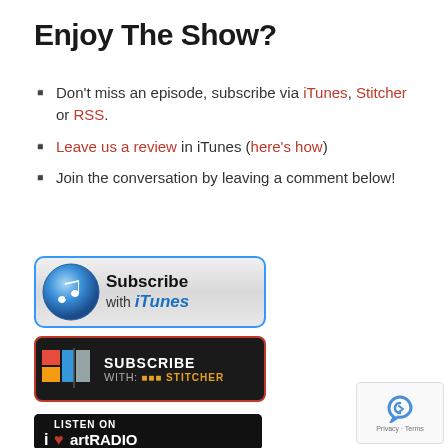Enjoy The Show?
Don't miss an episode, subscribe via iTunes, Stitcher or RSS.
Leave us a review in iTunes (here's how)
Join the conversation by leaving a comment below!
[Figure (logo): Subscribe with iTunes button - blue border, music note icon, text 'Subscribe with iTunes']
[Figure (logo): Subscribe with Stitcher button - red border, dark background, colorful icon, text 'SUBSCRIBE WITH: STITCHER']
[Figure (logo): Listen on iHeartRADIO button - dark background, partial view at bottom]